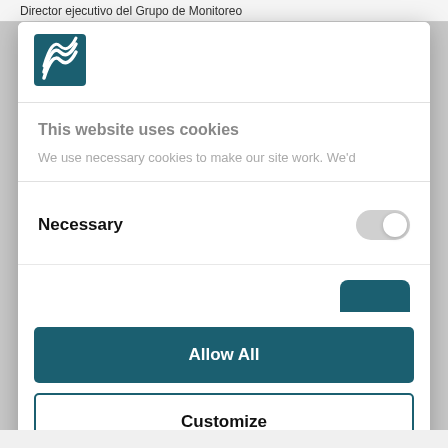Director ejecutivo del Grupo de Monitoreo
[Figure (logo): Organization logo with teal background, stylized white lines forming a layered arc or shield shape]
This website uses cookies
We use necessary cookies to make our site work. We'd
Necessary
Allow All
Customize
Powered by Cookiebot by Usercentrics